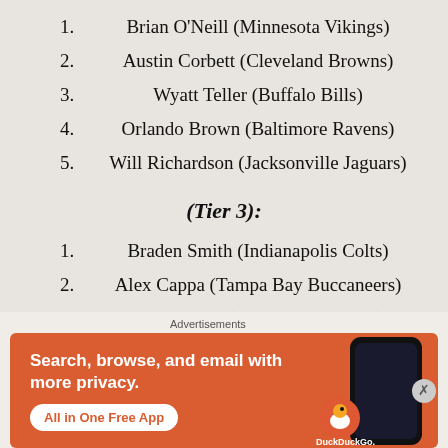1. Brian O'Neill (Minnesota Vikings)
2. Austin Corbett (Cleveland Browns)
3. Wyatt Teller (Buffalo Bills)
4. Orlando Brown (Baltimore Ravens)
5. Will Richardson (Jacksonville Jaguars)
(Tier 3):
1. Braden Smith (Indianapolis Colts)
2. Alex Cappa (Tampa Bay Buccaneers)
3. Brian Allen (Los Angeles Rams)
[Figure (other): DuckDuckGo advertisement banner with orange background, text 'Search, browse, and email with more privacy. All in One Free App' and DuckDuckGo logo with phone image]